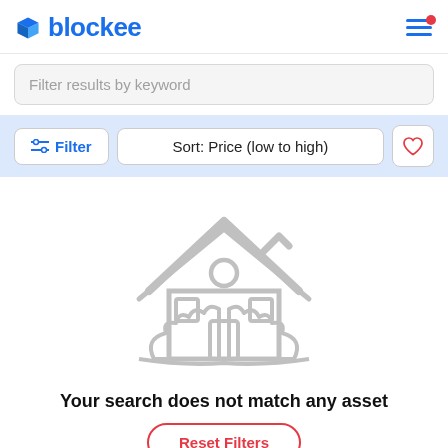[Figure (logo): Blockee logo with blue 3D cube icon and blue text 'blockee', hamburger menu icon with red notification dot in top-right]
Filter results by keyword
Filter
Sort: Price (low to high)
[Figure (illustration): Gray outline illustration of a house with a person silhouette inside, surrounded by abstract shapes suggesting trees/landscape]
Your search does not match any asset
Reset Filters
Metaverse > Etherland